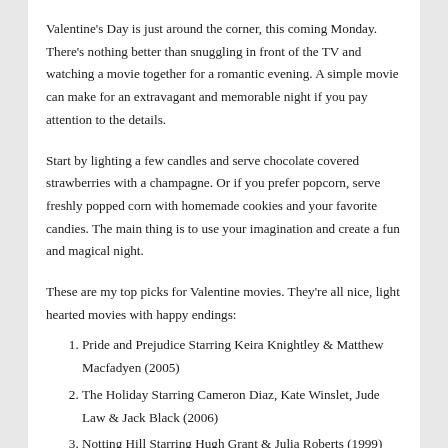Valentine's Day is just around the corner, this coming Monday. There's nothing better than snuggling in front of the TV and watching a movie together for a romantic evening. A simple movie can make for an extravagant and memorable night if you pay attention to the details.
Start by lighting a few candles and serve chocolate covered strawberries with a champagne. Or if you prefer popcorn, serve freshly popped corn with homemade cookies and your favorite candies. The main thing is to use your imagination and create a fun and magical night.
These are my top picks for Valentine movies. They're all nice, light hearted movies with happy endings:
Pride and Prejudice Starring Keira Knightley & Matthew Macfadyen (2005)
The Holiday Starring Cameron Diaz, Kate Winslet, Jude Law & Jack Black (2006)
Notting Hill Starring Hugh Grant & Julia Roberts (1999)
Laws of Attraction Starring Pierce Brosnan & Julianne Moore